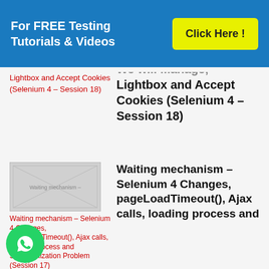For FREE Testing Tutorials & Videos   Click Here !
Lightbox and Accept Cookies (Selenium 4 – Session 18)
Lightbox and Accept Cookies (Selenium 4 – Session 18)
[Figure (photo): Thumbnail image for Waiting mechanism – Selenium 4 Changes, pageLoadTimeout(), Ajax calls, loading process and Synchronization Problem (Session 17)]
Waiting mechanism – Selenium 4 Changes, pageLoadTimeout(), Ajax calls, loading process and Synchronization Problem (Session 17)
Waiting mechanism – Selenium 4 Changes, pageLoadTimeout(), Ajax calls, loading process and